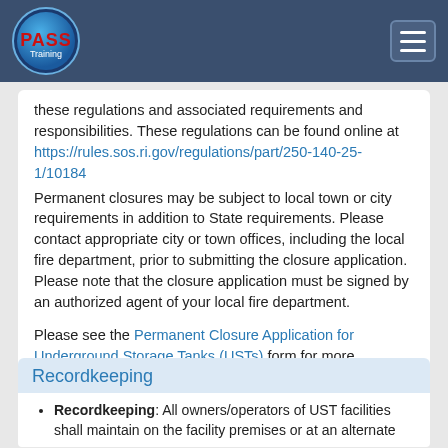PASS Training
these regulations and associated requirements and responsibilities. These regulations can be found online at https://rules.sos.ri.gov/regulations/part/250-140-25-1/10184 Permanent closures may be subject to local town or city requirements in addition to State requirements. Please contact appropriate city or town offices, including the local fire department, prior to submitting the closure application. Please note that the closure application must be signed by an authorized agent of your local fire department.
Please see the Permanent Closure Application for Underground Storage Tanks (USTs) form for more instructions.
Recordkeeping
Recordkeeping: All owners/operators of UST facilities shall maintain on the facility premises or at an alternate location acceptable to the Director the following records: